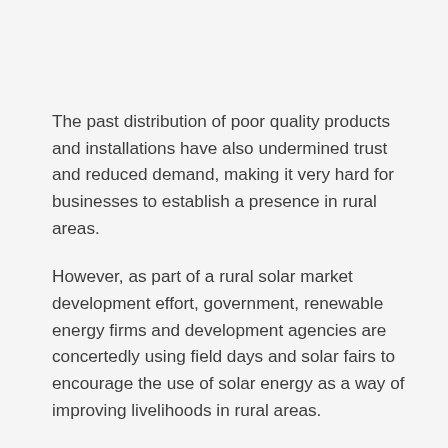The past distribution of poor quality products and installations have also undermined trust and reduced demand, making it very hard for businesses to establish a presence in rural areas.
However, as part of a rural solar market development effort, government, renewable energy firms and development agencies are concertedly using field days and solar fairs to encourage the use of solar energy as a way of improving livelihoods in rural areas.
Solar fairs are emerging as a key platform for awareness raising and consumer education on solar for off-grid communities and for solar distributors to create business